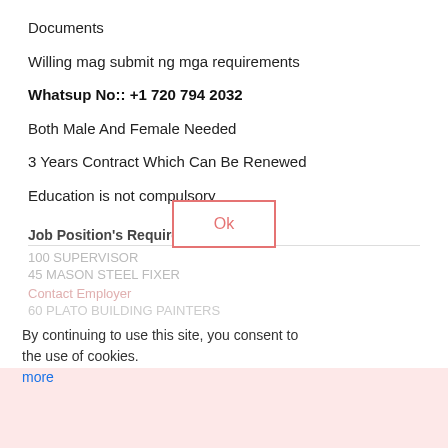Documents
Willing mag submit ng mga requirements
Whatsup No:: +1 720 794 2032
Both Male And Female Needed
3 Years Contract Which Can Be Renewed
Education is not compulsory
Job Position's Required Below
100 SUPERVISOR
45 MASON STEEL FIXER
By continuing to use this site, you consent to the use of cookies. more
Ok